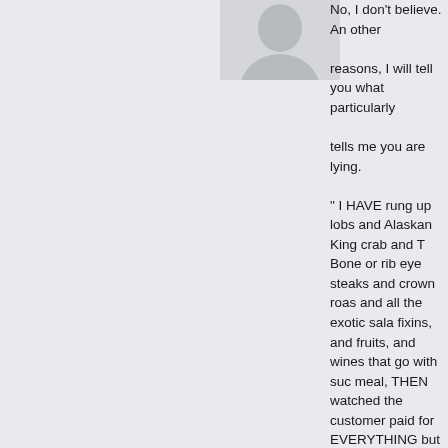[Figure (illustration): Generic user avatar icon, gray silhouette of a person on a light gray background]
No, I don't believe. An other reasons, I will tell you what particularly tells me you are lying. " I HAVE rung up lobster and Alaskan King crab and T Bone or rib eye steaks and crown roast and all the exotic salad fixins, and fruits, and wines that go with such meal, THEN watched the customer paid for EVERYTHING but the wine with an EBT card it is impossible to bu